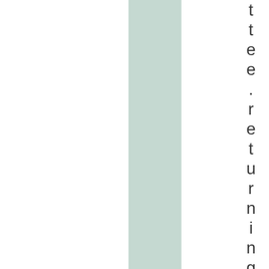tree .returningofficer Lis i Reis Z